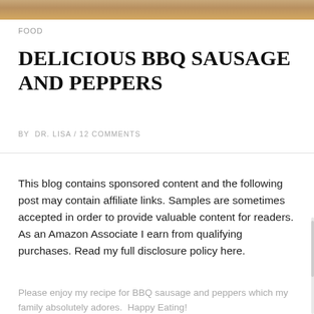[Figure (photo): Partial food photo strip at the top of the page showing BBQ sausage and peppers]
FOOD
DELICIOUS BBQ SAUSAGE AND PEPPERS
BY DR. LISA / 12 COMMENTS
This blog contains sponsored content and the following post may contain affiliate links. Samples are sometimes accepted in order to provide valuable content for readers. As an Amazon Associate I earn from qualifying purchases. Read my full disclosure policy here.
Please enjoy my recipe for BBQ sausage and peppers which my family absolutely adores.  Happy Eating!